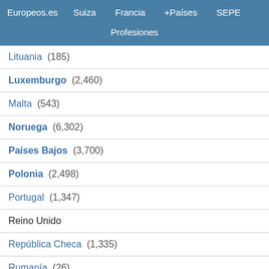Europeos.es  Suiza  Francia  +Países  SEPE  Profesiones
Lituania (185)
Luxemburgo (2,460)
Malta (543)
Noruega (6,302)
Países Bajos (3,700)
Polonia (2,498)
Portugal (1,347)
Reino Unido
República Checa (1,335)
Rumanía (26)